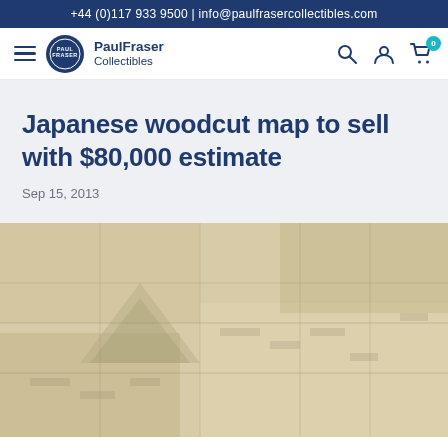+44 (0)117 933 9500 | info@paulfrasercollectibles.com
[Figure (logo): PaulFraser Collectibles navigation bar with hamburger menu, circular logo, brand name, and icons for search, account, and cart (badge showing 0)]
Japanese woodcut map to sell with $80,000 estimate
Sep 15, 2013
[Figure (photo): Blurred background image of a Japanese woodcut map in sepia/cream tones showing geographic outlines and Japanese characters]